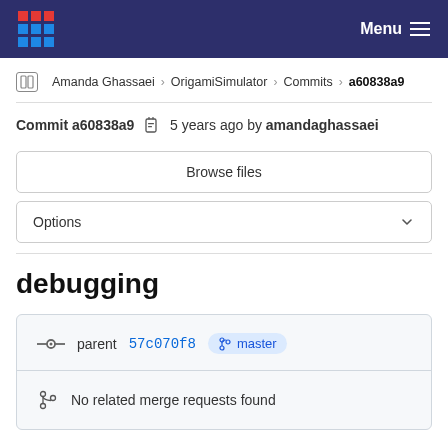Menu
Amanda Ghassaei › OrigamiSimulator › Commits › a60838a9
Commit a60838a9  5 years ago by amandaghassaei
Browse files
Options
debugging
parent 57c070f8  master
No related merge requests found